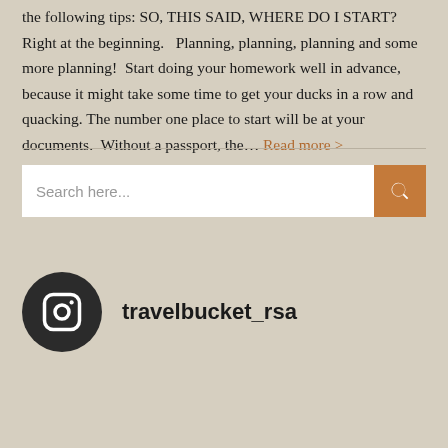the following tips: SO, THIS SAID, WHERE DO I START?  Right at the beginning.   Planning, planning, planning and some more planning!  Start doing your homework well in advance, because it might take some time to get your ducks in a row and quacking. The number one place to start will be at your documents.  Without a passport, the… Read more >
Search here...
[Figure (logo): Instagram logo icon in dark circle followed by username travelbucket_rsa]